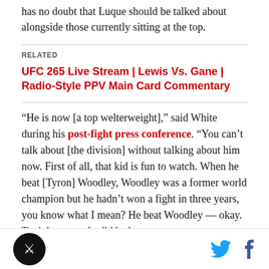has no doubt that Luque should be talked about alongside those currently sitting at the top.
RELATED
UFC 265 Live Stream | Lewis Vs. Gane | Radio-Style PPV Main Card Commentary
“He is now [a top welterweight],” said White during his post-fight press conference. “You can’t talk about [the division] without talking about him now. First of all, that kid is fun to watch. When he beat [Tyron] Woodley, Woodley was a former world champion but he hadn’t won a fight in three years, you know what I mean? He beat Woodley — okay. Tonight, not only did he beat
logo and social icons